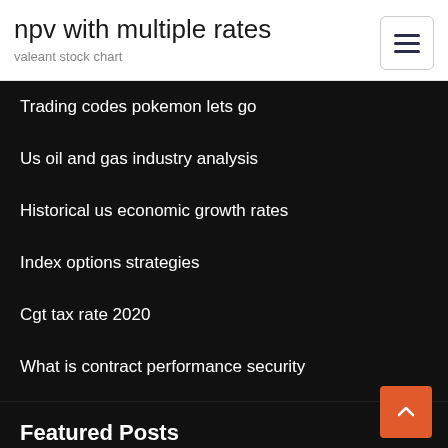npv with multiple rates
valeant stock chart
Trading codes pokemon lets go
Us oil and gas industry analysis
Historical us economic growth rates
Index options strategies
Cgt tax rate 2020
What is contract performance security
Featured Posts
How to buy stocks online reddit
What is stock trading...